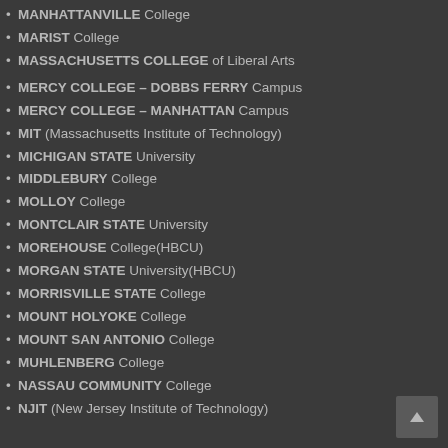MANHATTANVILLE College
MARIST College
MASSACHUSETTS COLLEGE of Liberal Arts
MERCY COLLEGE – DOBBS FERRY Campus
MERCY COLLEGE – MANHATTAN Campus
MIT (Massachusetts Institute of Technology)
MICHIGAN STATE University
MIDDLEBURY College
MOLLOY College
MONTCLAIR STATE University
MOREHOUSE College(HBCU)
MORGAN STATE University(HBCU)
MORRISVILLE STATE College
MOUNT HOLYOKE College
MOUNT SAN ANTONIO College
MUHLENBERG College
NASSAU COMMUNITY College
NJIT (New Jersey Institute of Technology)